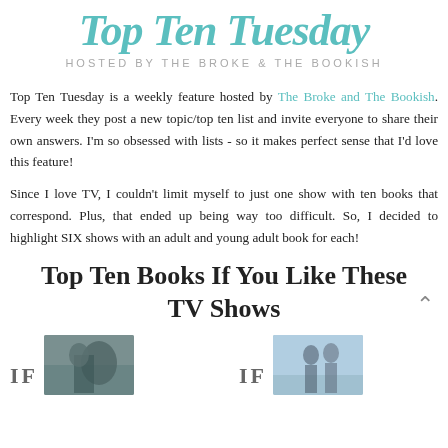[Figure (logo): Top Ten Tuesday logo in teal script with 'HOSTED BY THE BROKE & THE BOOKISH' subtitle]
Top Ten Tuesday is a weekly feature hosted by The Broke and The Bookish. Every week they post a new topic/top ten list and invite everyone to share their own answers. I'm so obsessed with lists - so it makes perfect sense that I'd love this feature!
Since I love TV, I couldn't limit myself to just one show with ten books that correspond. Plus, that ended up being way too difficult. So, I decided to highlight SIX shows with an adult and young adult book for each!
Top Ten Books If You Like These TV Shows
[Figure (photo): Two side-by-side book cover images with IF labels below the title section]